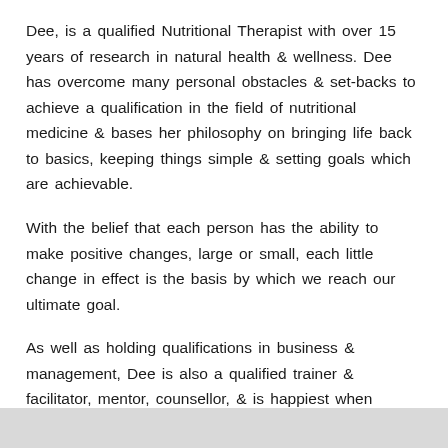Dee, is a qualified Nutritional Therapist with over 15 years of research in natural health & wellness. Dee has overcome many personal obstacles & set-backs to achieve a qualification in the field of nutritional medicine & bases her philosophy on bringing life back to basics, keeping things simple & setting goals which are achievable.
With the belief that each person has the ability to make positive changes, large or small, each little change in effect is the basis by which we reach our ultimate goal.
As well as holding qualifications in business & management, Dee is also a qualified trainer & facilitator, mentor, counsellor, & is happiest when helping others.